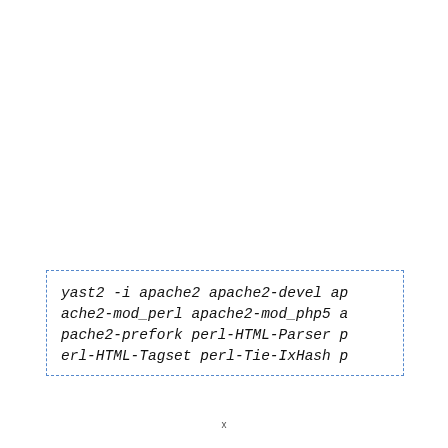yast2 -i apache2 apache2-devel apache2-mod_perl apache2-mod_php5 apache2-prefork perl-HTML-Parser perl-HTML-Tagset perl-Tie-IxHash p
x